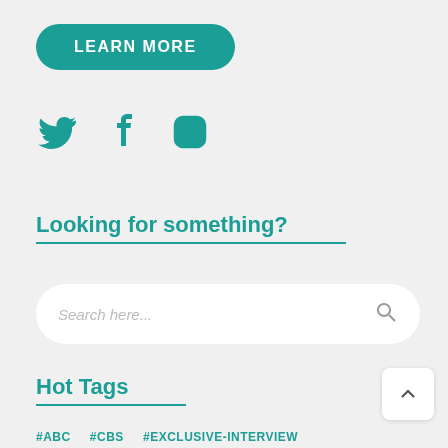LEARN MORE
[Figure (illustration): Social media icons: Twitter bird, Facebook f, Instagram camera outline, in teal color]
Looking for something?
Search here...
Hot Tags
#ABC   #CBS   #EXCLUSIVE-INTERVIEW